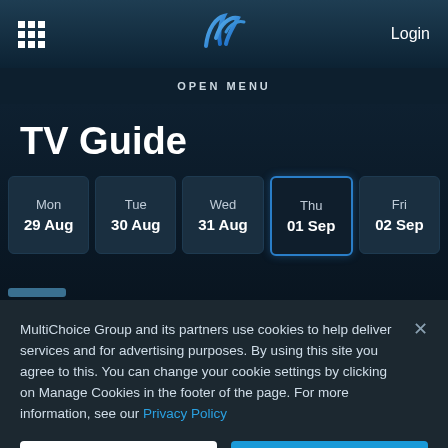Login
OPEN MENU
TV Guide
Mon 29 Aug | Tue 30 Aug | Wed 31 Aug | Thu 01 Sep | Fri 02 Sep
MultiChoice Group and its partners use cookies to help deliver services and for advertising purposes. By using this site you agree to this. You can change your cookie settings by clicking on Manage Cookies in the footer of the page. For more information, see our Privacy Policy
Cookies Settings
Accept All Cookies